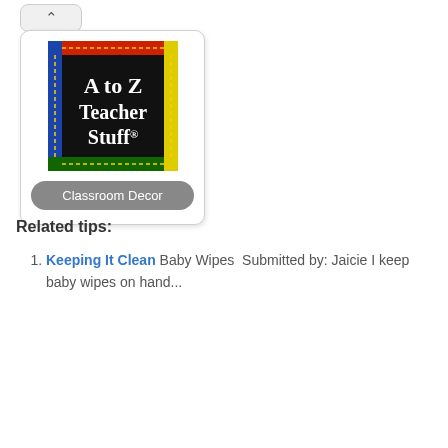[Figure (logo): A to Z Teacher Stuff logo — chalkboard style image with colorful border (red top, blue left, green bottom, yellow right) and chalk-written text 'A to Z Teacher Stuff®' on black background]
Classroom Decor
Related tips:
Keeping It Clean Baby Wipes  Submitted by: Jaicie I keep baby wipes on hand...